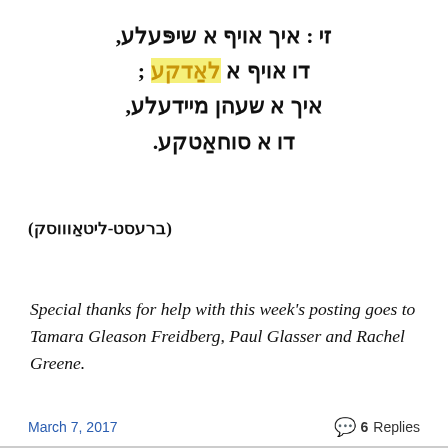[Figure (other): Yiddish text in Hebrew script, four lines, right-to-left, with the word 'לאדקע' highlighted in yellow/gold in the second line. Text reads: זי : איך אויף א שיפּעלע, / דו אויף א לאדקע ; / איך א שעהן מיידעלע, / דו א סוחאטקע.]
(ברעסט-ליטאוווסק)
Special thanks for help with this week's posting goes to Tamara Gleason Freidberg, Paul Glasser and Rachel Greene.
March 7, 2017   6 Replies